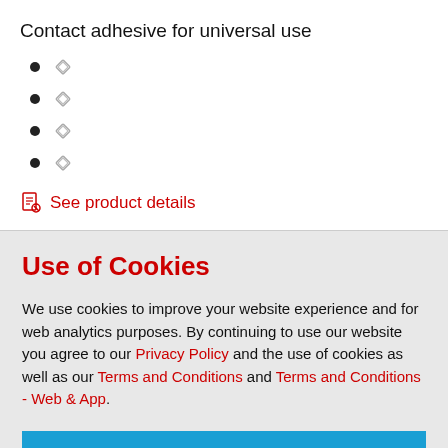Contact adhesive for universal use
See product details
Use of Cookies
We use cookies to improve your website experience and for web analytics purposes. By continuing to use our website you agree to our Privacy Policy and the use of cookies as well as our Terms and Conditions and Terms and Conditions - Web & App.
CLOSE